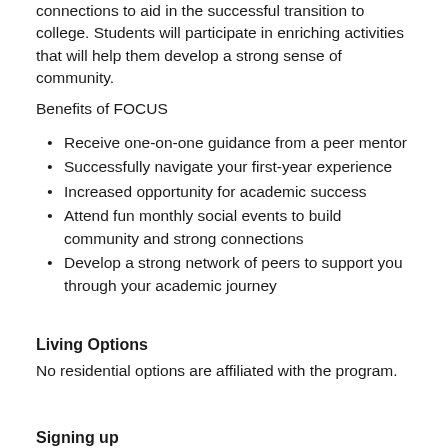connections to aid in the successful transition to college. Students will participate in enriching activities that will help them develop a strong sense of community.
Benefits of FOCUS
Receive one-on-one guidance from a peer mentor
Successfully navigate your first-year experience
Increased opportunity for academic success
Attend fun monthly social events to build community and strong connections
Develop a strong network of peers to support you through your academic journey
Living Options
No residential options are affiliated with the program.
Signing up